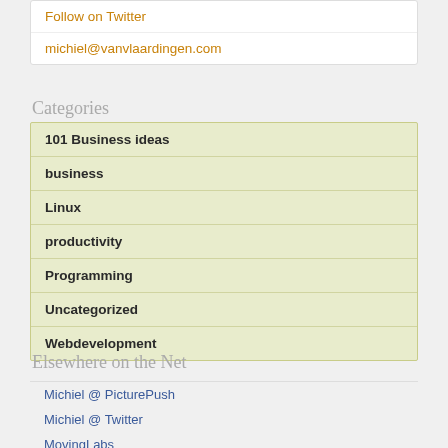Follow on Twitter
michiel@vanvlaardingen.com
Categories
101 Business ideas
business
Linux
productivity
Programming
Uncategorized
Webdevelopment
Elsewhere on the Net
Michiel @ PicturePush
Michiel @ Twitter
MovingLabs